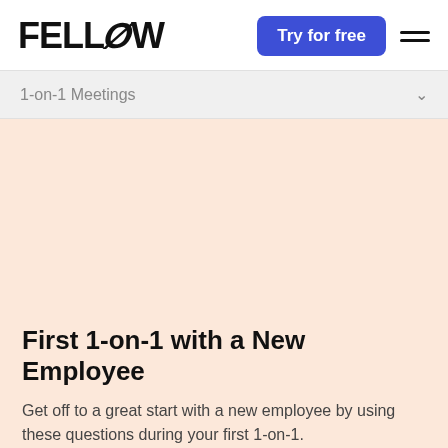FELLOW
Try for free
1-on-1 Meetings
First 1-on-1 with a New Employee
Get off to a great start with a new employee by using these questions during your first 1-on-1.